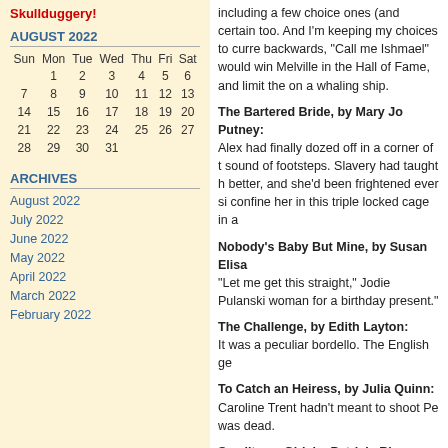Skullduggery!
AUGUST 2022
| Sun | Mon | Tue | Wed | Thu | Fri | Sat |
| --- | --- | --- | --- | --- | --- | --- |
|  | 1 | 2 | 3 | 4 | 5 | 6 |
| 7 | 8 | 9 | 10 | 11 | 12 | 13 |
| 14 | 15 | 16 | 17 | 18 | 19 | 20 |
| 21 | 22 | 23 | 24 | 25 | 26 | 27 |
| 28 | 29 | 30 | 31 |  |  |  |
ARCHIVES
August 2022
July 2022
June 2022
May 2022
April 2022
March 2022
February 2022
including a few choice ones (and certain too. And I'm keeping my choices to curre backwards, "Call me Ishmael" would win Melville in the Hall of Fame, and limit the on a whaling ship.
The Bartered Bride, by Mary Jo Putney: Alex had finally dozed off in a corner of t sound of footsteps. Slavery had taught h better, and she'd been frightened ever si confine her in this triple locked cage in a
Nobody's Baby But Mine, by Susan Elisa "Let me get this straight," Jodie Pulanski woman for a birthday present."
The Challenge, by Edith Layton: It was a peculiar bordello. The English ge
To Catch an Heiress, by Julia Quinn: Caroline Trent hadn't meant to shoot Pe was dead.
Smalltown Girl, by Patricia Rice: Flynn Clinton rubbed his whisker stubble the dance floor of lithe gyrating bodies. H